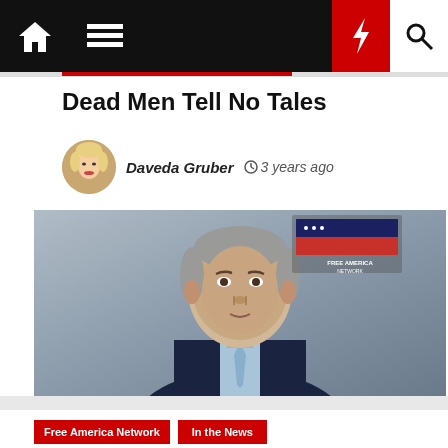Navigation bar with home, menu, lightning bolt, and search icons
Dead Men Tell No Tales
Daveda Gruber  3 years ago
[Figure (photo): Man in dark suit with light blue tie, bald with short grey hair, looking to the side. Watermark logo in top-right corner of photo.]
Free America Network   In the News